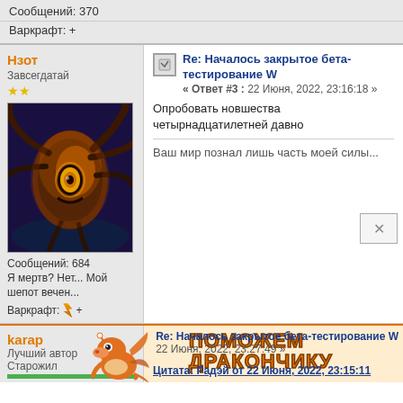Сообщений: 370
Варкрафт: +
Нзот
Завсегдатай
[Figure (illustration): Avatar image of a dark fantasy monster creature with a large yellow eye and tentacles]
Сообщений: 684
Я мертв? Нет... Мой шепот вечен...
Варкрафт: +
Re: Началось закрытое бета-тестирование W
« Ответ #3 : 22 Июня, 2022, 23:16:18 »
Опробовать новшества четырнадцатилетней давно
Ваш мир познал лишь часть моей силы...
karap
Лучший автор
Старожил
Re: Началось закрытое бета-тестирование W
22 Июня, 2022, 23:27:49 »
Цитата: Радэй от 22 Июня, 2022, 23:15:11
[Figure (illustration): Cartoon dragon mascot advertisement overlay reading ПОМОЖЕМ ДРАКОНЧИКУ]